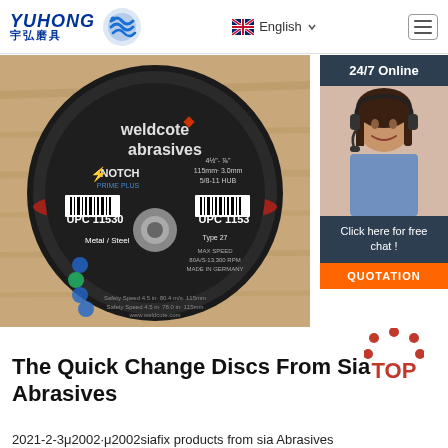YUHONG 宇弘磨具 | English
[Figure (photo): Weldcote Abrasives NOTCH Prime Plus cutting disc, UPC 11530, for Metal/Steel, Type 27, Made in Germany. Dark circular grinding disc shown face-on on a wooden surface.]
[Figure (photo): Customer service representative wearing headset, smiling. Side widget with 24/7 Online banner, Click here for free chat text, and orange QUOTATION button.]
The Quick Change Discs From Sia Abrasives
2021-2-3μ2002·μ2002siafix products from sia Abrasives